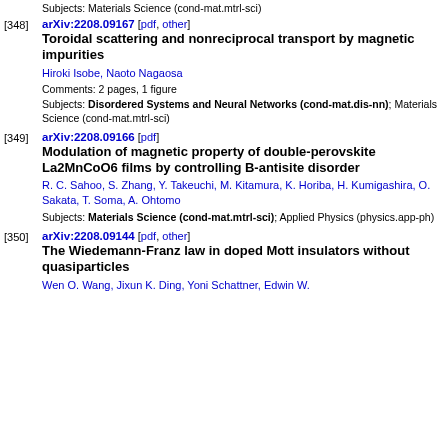Subjects: Materials Science (cond-mat.mtrl-sci)
[348] arXiv:2208.09167 [pdf, other] Toroidal scattering and nonreciprocal transport by magnetic impurities. Authors: Hiroki Isobe, Naoto Nagaosa. Comments: 2 pages, 1 figure. Subjects: Disordered Systems and Neural Networks (cond-mat.dis-nn); Materials Science (cond-mat.mtrl-sci)
[349] arXiv:2208.09166 [pdf] Modulation of magnetic property of double-perovskite La2MnCoO6 films by controlling B-antisite disorder. Authors: R. C. Sahoo, S. Zhang, Y. Takeuchi, M. Kitamura, K. Horiba, H. Kumigashira, O. Sakata, T. Soma, A. Ohtomo. Subjects: Materials Science (cond-mat.mtrl-sci); Applied Physics (physics.app-ph)
[350] arXiv:2208.09144 [pdf, other] The Wiedemann-Franz law in doped Mott insulators without quasiparticles. Authors: Wen O. Wang, Jixun K. Ding, Yoni Schattner, Edwin W.